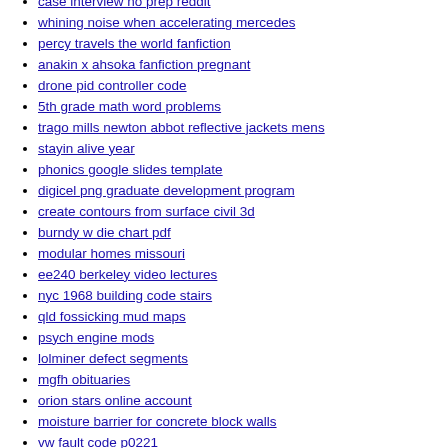case interview no prep reddit
whining noise when accelerating mercedes
percy travels the world fanfiction
anakin x ahsoka fanfiction pregnant
drone pid controller code
5th grade math word problems
trago mills newton abbot reflective jackets mens
stayin alive year
phonics google slides template
digicel png graduate development program
create contours from surface civil 3d
burndy w die chart pdf
modular homes missouri
ee240 berkeley video lectures
nyc 1968 building code stairs
qld fossicking mud maps
psych engine mods
lolminer defect segments
mgfh obituaries
orion stars online account
moisture barrier for concrete block walls
vw fault code p0221
passlock 2 wiring diagram
the compass school manassas
military fighting knives